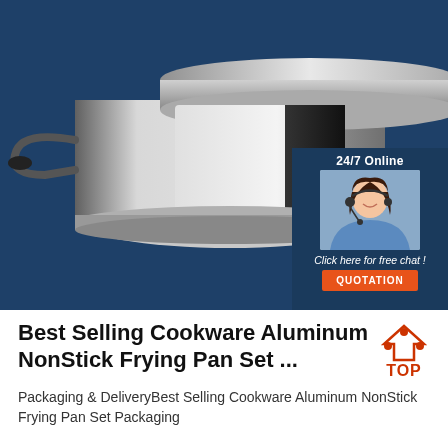[Figure (photo): Large stainless steel cookware pot with lid shown against dark navy blue background, with a 24/7 online customer service chat overlay in the top-right corner showing a smiling woman with headset, text 'Click here for free chat!' and an orange QUOTATION button]
Best Selling Cookware Aluminum NonStick Frying Pan Set ...
Packaging & DeliveryBest Selling Cookware Aluminum NonStick Frying Pan Set Packaging